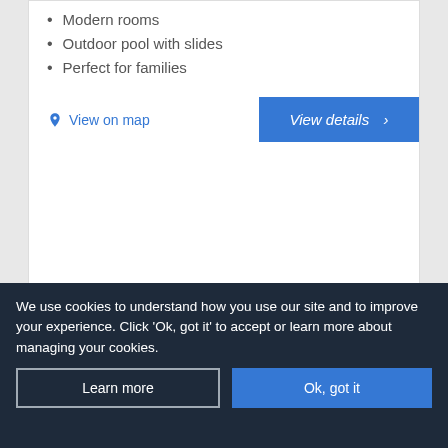Modern rooms
Outdoor pool with slides
Perfect for families
View on map
View details ›
from £531pp Based on
We use cookies to understand how you use our site and to improve your experience. Click 'Ok, got it' to accept or learn more about managing your cookies.
Learn more
Ok, got it